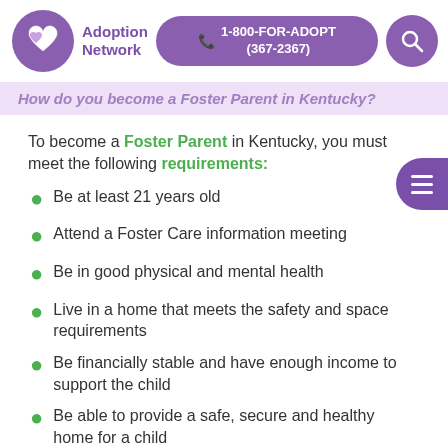Adoption Network | 1-800-FOR-ADOPT (367-2367)
How do you become a Foster Parent in Kentucky?
To become a Foster Parent in Kentucky, you must meet the following requirements:
Be at least 21 years old
Attend a Foster Care information meeting
Be in good physical and mental health
Live in a home that meets the safety and space requirements
Be financially stable and have enough income to support the child
Be able to provide a safe, secure and healthy home for a child
Complete 15 hours of pre-service training